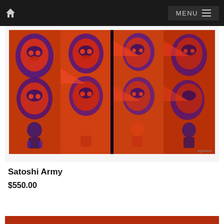MENU
[Figure (photo): Artwork titled 'Satoshi Army' — a colorful psychedelic diptych painting/print with repeated stylized faces and figures rendered in vivid red, orange, and blue/purple tones against dark backgrounds, displayed in a white mat frame.]
Satoshi Army
$550.00